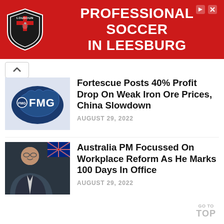[Figure (other): Red advertisement banner for Loudoun Soccer: PROFESSIONAL SOCCER IN LEESBURG with a shield/crest logo on the left]
Fortescue Posts 40% Profit Drop On Weak Iron Ore Prices, China Slowdown
AUGUST 29, 2022
Australia PM Focussed On Workplace Reform As He Marks 100 Days In Office
AUGUST 29, 2022